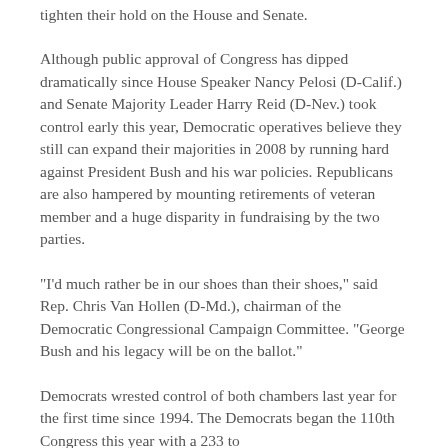tighten their hold on the House and Senate.
Although public approval of Congress has dipped dramatically since House Speaker Nancy Pelosi (D-Calif.) and Senate Majority Leader Harry Reid (D-Nev.) took control early this year, Democratic operatives believe they still can expand their majorities in 2008 by running hard against President Bush and his war policies. Republicans are also hampered by mounting retirements of veteran member and a huge disparity in fundraising by the two parties.
"I'd much rather be in our shoes than their shoes," said Rep. Chris Van Hollen (D-Md.), chairman of the Democratic Congressional Campaign Committee. "George Bush and his legacy will be on the ballot."
Democrats wrested control of both chambers last year for the first time since 1994. The Democrats began the 110th Congress this year with a 233 to